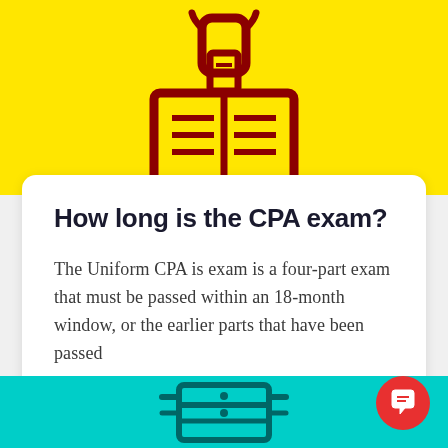[Figure (illustration): Yellow banner background with a dark red icon of a hand placing a paper into an open book, illustrated in thick outline style on yellow background]
How long is the CPA exam?
The Uniform CPA is exam is a four-part exam that must be passed within an 18-month window, or the earlier parts that have been passed
READ MORE
[Figure (illustration): Teal/cyan banner at bottom with a dark teal icon of a document or filing cabinet illustrated in outline style]
[Figure (illustration): Red circular chat button with speech bubble icon in bottom right corner]